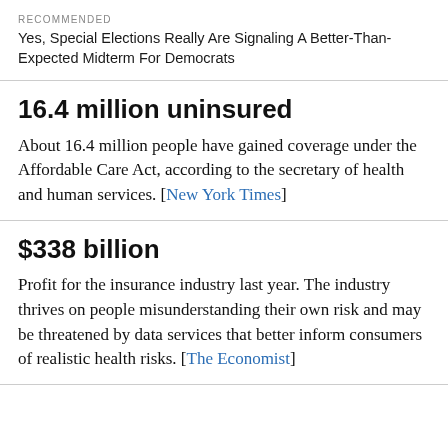RECOMMENDED
Yes, Special Elections Really Are Signaling A Better-Than-Expected Midterm For Democrats
16.4 million uninsured
About 16.4 million people have gained coverage under the Affordable Care Act, according to the secretary of health and human services. [New York Times]
$338 billion
Profit for the insurance industry last year. The industry thrives on people misunderstanding their own risk and may be threatened by data services that better inform consumers of realistic health risks. [The Economist]